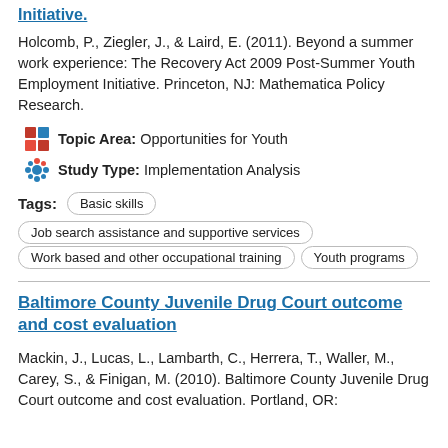Initiative.
Holcomb, P., Ziegler, J., & Laird, E. (2011). Beyond a summer work experience: The Recovery Act 2009 Post-Summer Youth Employment Initiative. Princeton, NJ: Mathematica Policy Research.
Topic Area: Opportunities for Youth
Study Type: Implementation Analysis
Basic skills
Job search assistance and supportive services
Work based and other occupational training
Youth programs
Baltimore County Juvenile Drug Court outcome and cost evaluation
Mackin, J., Lucas, L., Lambarth, C., Herrera, T., Waller, M., Carey, S., & Finigan, M. (2010). Baltimore County Juvenile Drug Court outcome and cost evaluation. Portland, OR: